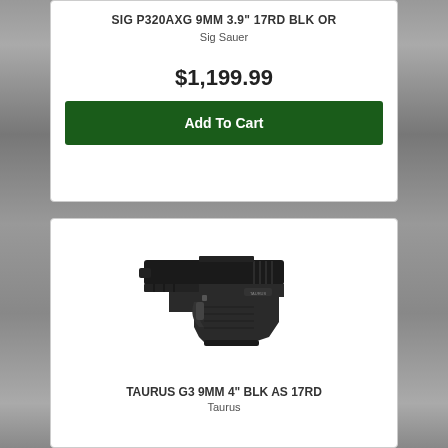SIG P320AXG 9MM 3.9" 17RD BLK OR
Sig Sauer
$1,199.99
Add To Cart
[Figure (photo): Black Taurus G3 semi-automatic pistol facing left, shown from the side against white background]
TAURUS G3 9MM 4" BLK AS 17RD
Taurus